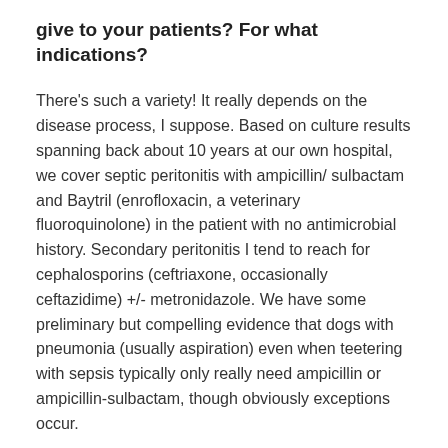give to your patients? For what indications?
There's such a variety! It really depends on the disease process, I suppose. Based on culture results spanning back about 10 years at our own hospital, we cover septic peritonitis with ampicillin/ sulbactam and Baytril (enrofloxacin, a veterinary fluoroquinolone) in the patient with no antimicrobial history. Secondary peritonitis I tend to reach for cephalosporins (ceftriaxone, occasionally ceftazidime) +/- metronidazole. We have some preliminary but compelling evidence that dogs with pneumonia (usually aspiration) even when teetering with sepsis typically only really need ampicillin or ampicillin-sulbactam, though obviously exceptions occur.
I would say that spanning all types of infections, probably the most frequently prescribed for cats and